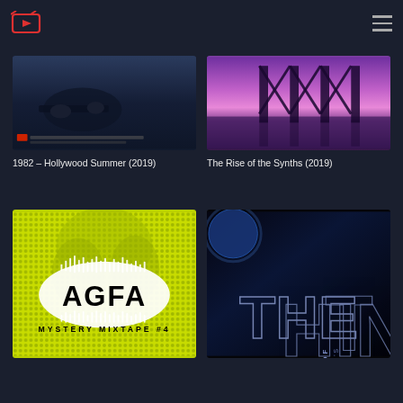Navigation header with logo and hamburger menu
[Figure (screenshot): Movie thumbnail for 1982 - Hollywood Summer (2019), dark blue film poster]
1982 – Hollywood Summer (2019)
[Figure (screenshot): Movie thumbnail for The Rise of the Synths (2019), purple/magenta geometric bridge over water]
The Rise of the Synths (2019)
[Figure (screenshot): Movie thumbnail for AGFA Mystery Mixtape #4, yellow halftone with AGFA logo text]
[Figure (screenshot): Movie thumbnail for The Making of John Carpenter's The Thing, dark space/film title card]